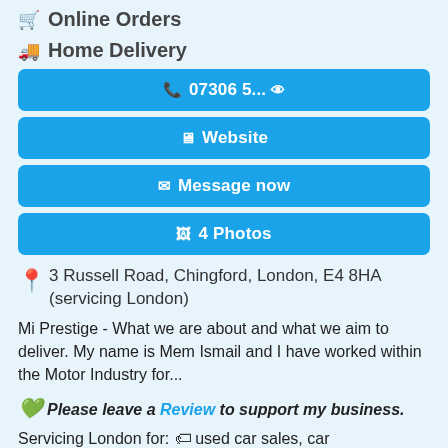🛒 Online Orders
🚚 Home Delivery
📞 07306 5... 👁
🖥 Website
✉ Message now
🖼 4 Photos
📍 3 Russell Road, Chingford, London, E4 8HA (servicing London)
Mi Prestige - What we are about and what we aim to deliver. My name is Mem Ismail and I have worked within the Motor Industry for...
💚 Please leave a Review to support my business.
Servicing London for: 🏷 used car sales, car